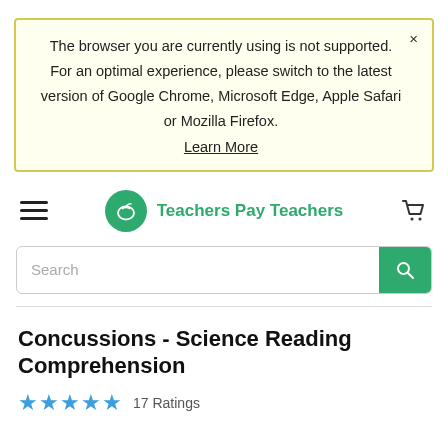The browser you are currently using is not supported. For an optimal experience, please switch to the latest version of Google Chrome, Microsoft Edge, Apple Safari or Mozilla Firefox. Learn More
[Figure (logo): Teachers Pay Teachers logo with green circle and apple icon, hamburger menu, and cart icon]
Search
Concussions - Science Reading Comprehension
17 Ratings